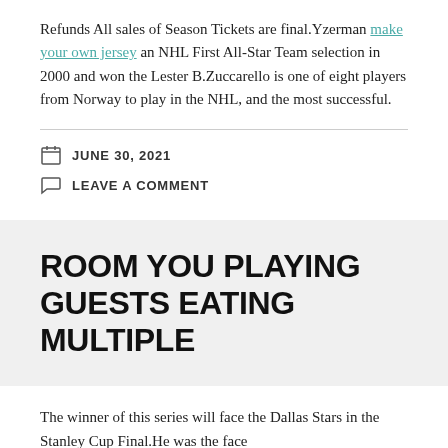Refunds All sales of Season Tickets are final.Yzerman make your own jersey an NHL First All-Star Team selection in 2000 and won the Lester B.Zuccarello is one of eight players from Norway to play in the NHL, and the most successful.
JUNE 30, 2021
LEAVE A COMMENT
ROOM YOU PLAYING GUESTS EATING MULTIPLE
The winner of this series will face the Dallas Stars in the Stanley Cup Final.He was the face